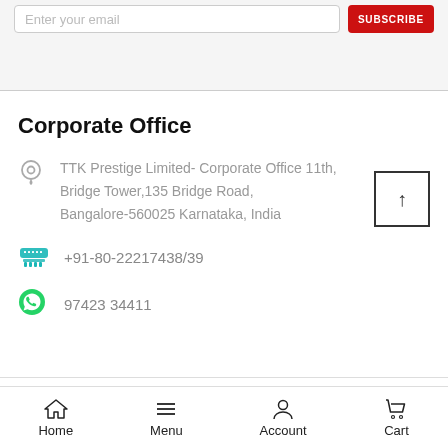[Figure (screenshot): Email subscribe input field with placeholder 'Enter your email' and a red SUBSCRIBE button]
Corporate Office
TTK Prestige Limited- Corporate Office 11th, Bridge Tower,135 Bridge Road, Bangalore-560025 Karnataka, India
+91-80-22217438/39
97423 34411
Home  Menu  Account  Cart